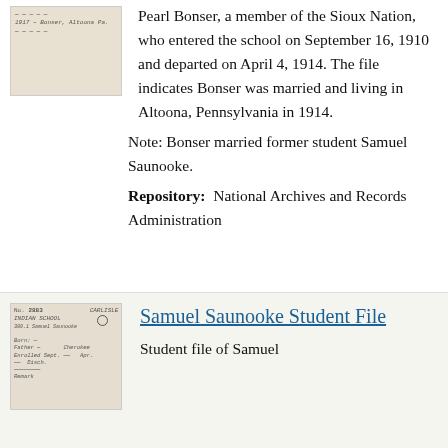[Figure (photo): Scanned handwritten document card, historic record, beige/cream colored with cursive handwriting]
Pearl Bonser, a member of the Sioux Nation, who entered the school on September 16, 1910 and departed on April 4, 1914. The file indicates Bonser was married and living in Altoona, Pennsylvania in 1914.
Note: Bonser married former student Samuel Saunooke.
Repository:  National Archives and Records Administration
[Figure (photo): Scanned handwritten student file card with ruled lines and handwritten entries, historic record]
Samuel Saunooke Student File
Student file of Samuel